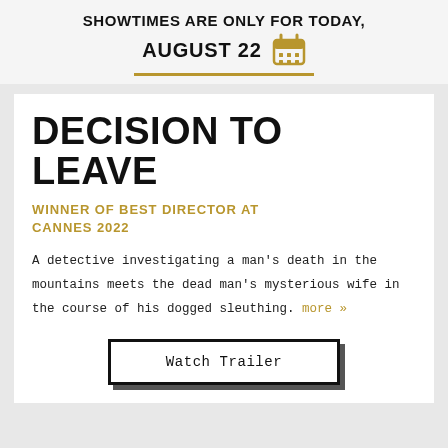SHOWTIMES ARE ONLY FOR TODAY, AUGUST 22
DECISION TO LEAVE
WINNER OF BEST DIRECTOR AT CANNES 2022
A detective investigating a man's death in the mountains meets the dead man's mysterious wife in the course of his dogged sleuthing. more »
Watch Trailer